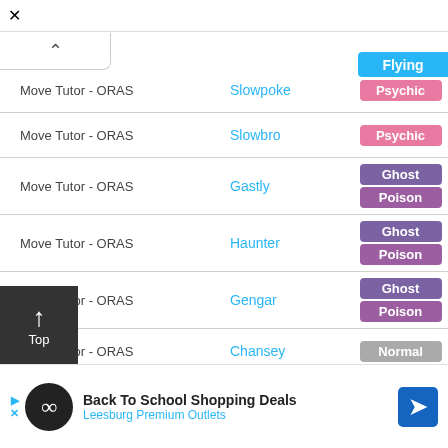| Method |  | Pokémon | Type |
| --- | --- | --- | --- |
| Move Tutor - ORAS |  | Slowpoke | Psychic |
| Move Tutor - ORAS |  | Slowbro | Psychic |
| Move Tutor - ORAS |  | Gastly | Ghost / Poison |
| Move Tutor - ORAS |  | Haunter | Ghost / Poison |
| Move Tutor - ORAS |  | Gengar | Ghost / Poison |
| Move Tutor - ORAS |  | Chansey | Normal |
[Figure (infographic): Advertisement banner: Back To School Shopping Deals - Leesburg Premium Outlets]